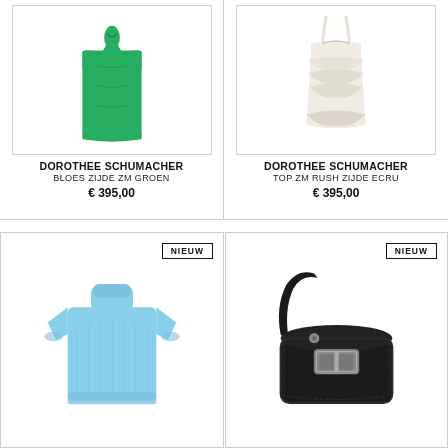[Figure (photo): Green sleeveless silk blouse with tie at neckline, Dorothee Schumacher]
DOROTHEE SCHUMACHER
BLOES ZIJDE ZM GROEN
€ 395,00
[Figure (photo): Cream/ecru ruffled silk top, Dorothee Schumacher]
DOROTHEE SCHUMACHER
TOP ZM RUSH ZIJDE ECRU
€ 395,00
[Figure (photo): Light blue short-sleeve knit top, NIEUW badge]
[Figure (photo): Black leather shoulder bag with buckle, NIEUW badge]